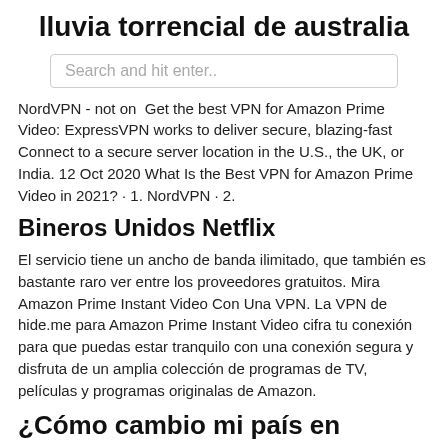lluvia torrencial de australia
Search and hit enter..
NordVPN - not on  Get the best VPN for Amazon Prime Video: ExpressVPN works to deliver secure, blazing-fast Connect to a secure server location in the U.S., the UK, or India. 12 Oct 2020 What Is the Best VPN for Amazon Prime Video in 2021? · 1. NordVPN · 2.
Bineros Unidos Netflix
El servicio tiene un ancho de banda ilimitado, que también es bastante raro ver entre los proveedores gratuitos. Mira Amazon Prime Instant Video Con Una VPN. La VPN de hide.me para Amazon Prime Instant Video cifra tu conexión para que puedas estar tranquilo con una conexión segura y disfruta de un amplia colección de programas de TV, películas y programas originalas de Amazon.
¿Cómo cambio mi país en Amazon? Stream Telly